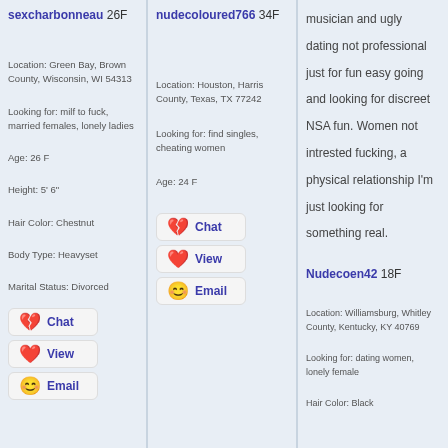sexcharbonneau 26F
Location: Green Bay, Brown County, Wisconsin, WI 54313
Looking for: milf to fuck, married females, lonely ladies
Age: 26 F
Height: 5' 6"
Hair Color: Chestnut
Body Type: Heavyset
Marital Status: Divorced
nudecoloured766 34F
Location: Houston, Harris County, Texas, TX 77242
Looking for: find singles, cheating women
Age: 24 F
musician and ugly dating not professional just for fun easy going and looking for discreet NSA fun. Women not intrested fucking, a physical relationship I'm just looking for something real.
Nudecoen42 18F
Location: Williamsburg, Whitley County, Kentucky, KY 40769
Looking for: dating women, lonely female
Hair Color: Black